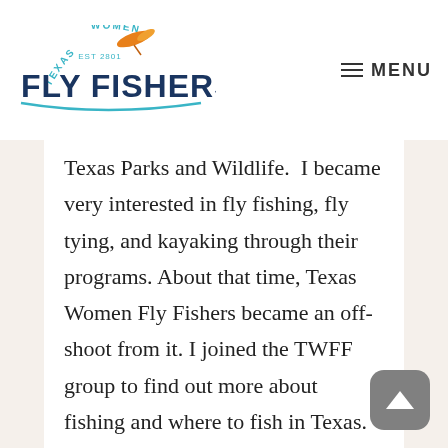Texas Women Fly Fishers — EST 2001 | MENU
Texas Parks and Wildlife.  I became very interested in fly fishing, fly tying, and kayaking through their programs. About that time, Texas Women Fly Fishers became an off-shoot from it. I joined the TWFF group to find out more about fishing and where to fish in Texas. Since then I have been in and out of being an active member with commitments to family and my